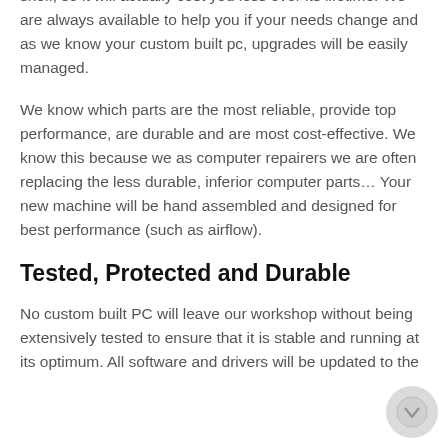shelf, so it will actually cost you less over its lifetime. We are always available to help you if your needs change and as we know your custom built pc, upgrades will be easily managed.
We know which parts are the most reliable, provide top performance, are durable and are most cost-effective. We know this because we as computer repairers we are often replacing the less durable, inferior computer parts… Your new machine will be hand assembled and designed for best performance (such as airflow).
Tested, Protected and Durable
No custom built PC will leave our workshop without being extensively tested to ensure that it is stable and running at its optimum. All software and drivers will be updated to the